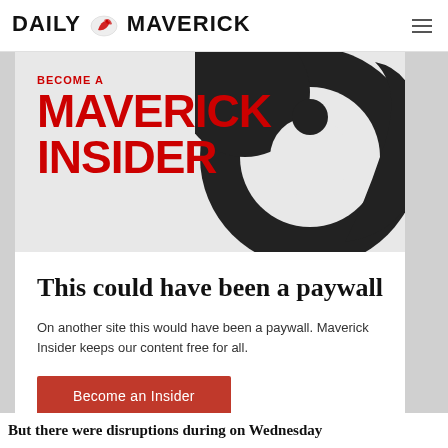DAILY MAVERICK
[Figure (logo): Daily Maverick logo with eagle emblem and site name in bold black text]
[Figure (illustration): Large black spiral/yin-yang style graphic on grey background with 'Become a Maverick Insider' text overlay in red]
This could have been a paywall
On another site this would have been a paywall. Maverick Insider keeps our content free for all.
Become an Insider
But there were disruptions during on Wednesday